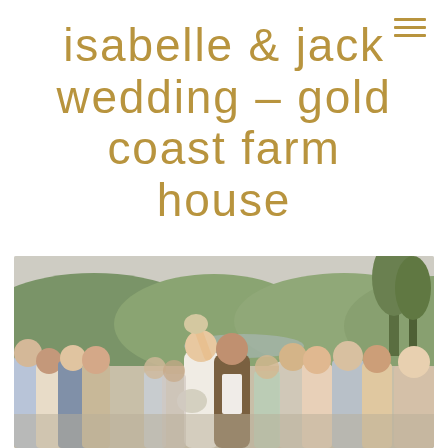isabelle & jack wedding – gold coast farm house
[Figure (photo): Wedding ceremony recessional photo outdoors at a farm/rural setting. Bride in white dress and groom in brown jacket walking jubilantly among guests, with green hills and trees in background. Natural, candid moment with crowd of guests on both sides.]